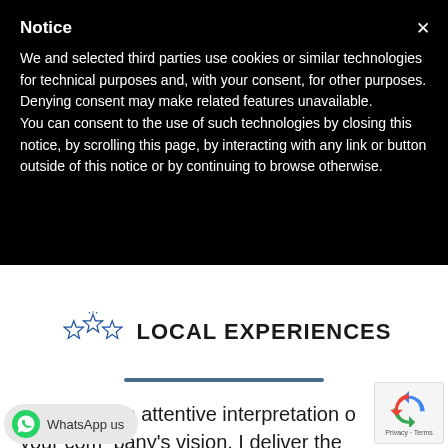Notice
We and selected third parties use cookies or similar technologies for technical purposes and, with your consent, for other purposes. Denying consent may make related features unavailable.
You can consent to the use of such technologies by closing this notice, by scrolling this page, by interacting with any link or button outside of this notice or by continuing to browse otherwise.
[Figure (logo): Local Experiences logo with three outlined stars and bold text 'LOCAL EXPERIENCES']
Thanks to an attentive interpretation of your company's vision, I deliver the